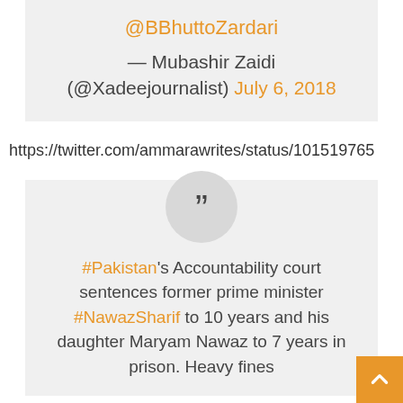@BBhuttoZardari
— Mubashir Zaidi (@Xadeejournalist) July 6, 2018
https://twitter.com/ammarawrites/status/101519765
[Figure (screenshot): Quote card with large quotation mark icon in circle, containing tweet text: #Pakistan's Accountability court sentences former prime minister #NawazSharif to 10 years and his daughter Maryam Nawaz to 7 years in prison. Heavy fines]
#Pakistan's Accountability court sentences former prime minister #NawazSharif to 10 years and his daughter Maryam Nawaz to 7 years in prison. Heavy fines